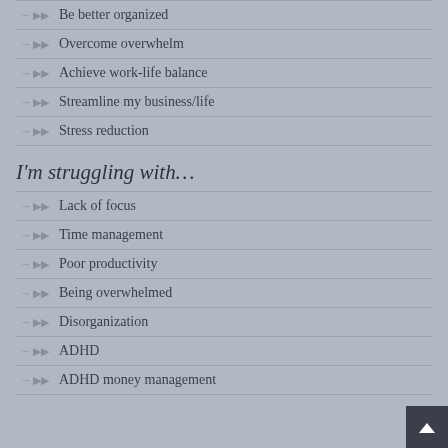Be better organized
Overcome overwhelm
Achieve work-life balance
Streamline my business/life
Stress reduction
I'm struggling with…
Lack of focus
Time management
Poor productivity
Being overwhelmed
Disorganization
ADHD
ADHD money management